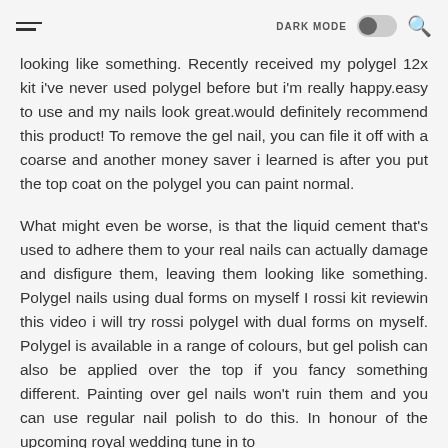DARK MODE [toggle] [search]
looking like something. Recently received my polygel 12x kit i've never used polygel before but i'm really happy.easy to use and my nails look great.would definitely recommend this product! To remove the gel nail, you can file it off with a coarse and another money saver i learned is after you put the top coat on the polygel you can paint normal.
What might even be worse, is that the liquid cement that's used to adhere them to your real nails can actually damage and disfigure them, leaving them looking like something. Polygel nails using dual forms on myself I rossi kit reviewin this video i will try rossi polygel with dual forms on myself. Polygel is available in a range of colours, but gel polish can also be applied over the top if you fancy something different. Painting over gel nails won't ruin them and you can use regular nail polish to do this. In honour of the upcoming royal wedding tune in to